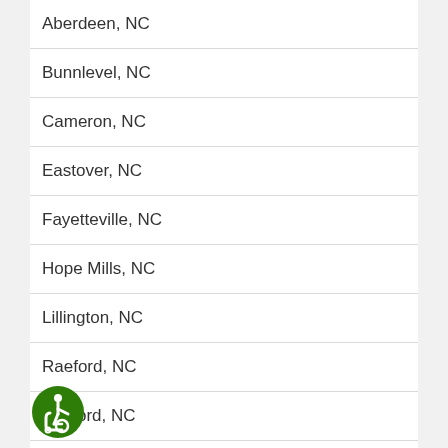Aberdeen, NC
Bunnlevel, NC
Cameron, NC
Eastover, NC
Fayetteville, NC
Hope Mills, NC
Lillington, NC
Raeford, NC
Sanford, NC
Southern Pines, NC
[Figure (logo): Accessibility icon - green circle with wheelchair user symbol in white]